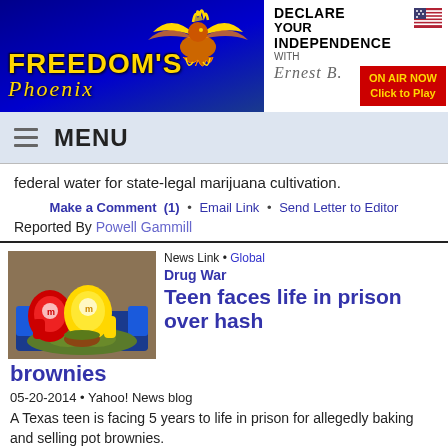[Figure (logo): Freedom's Phoenix logo with golden phoenix bird on blue background]
[Figure (infographic): Declare Your Independence with Ernest Hancock - ON AIR NOW Click to Play red button]
MENU
federal water for state-legal marijuana cultivation.
Make a Comment (1) • Email Link • Send Letter to Editor
Reported By Powell Gammill
[Figure (photo): M&M candy characters sitting on a couch surrounded by marijuana]
News Link • Global Drug War
Teen faces life in prison over hash brownies
05-20-2014 • Yahoo! News blog
A Texas teen is facing 5 years to life in prison for allegedly baking and selling pot brownies.